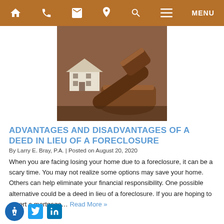[Figure (screenshot): Navigation bar with home, phone, mail, location, search, menu icons on brown/orange background]
[Figure (photo): A judge's gavel next to a miniature house model, representing foreclosure legal proceedings]
ADVANTAGES AND DISADVANTAGES OF A DEED IN LIEU OF A FORECLOSURE
By Larry E. Bray, P.A. | Posted on August 20, 2020
When you are facing losing your home due to a foreclosure, it can be a scary time. You may not realize some options may save your home. Others can help eliminate your financial responsibility. One possible alternative could be a deed in lieu of a foreclosure. If you are hoping to assert a mortgage... Read More »